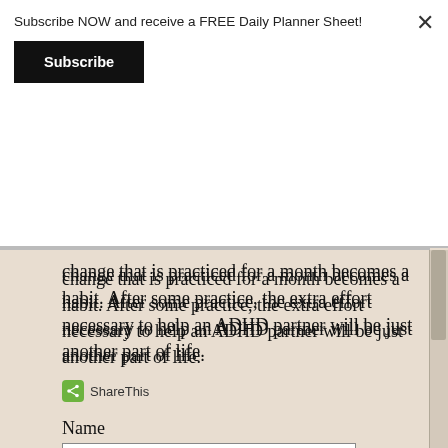Subscribe NOW and receive a FREE Daily Planner Sheet!
Subscribe
change that is practiced for a month becomes a habit. After some practice, the extra effort necessary to help an ADHD partner will be just another part of life.
ShareThis
Name
Email
Comment